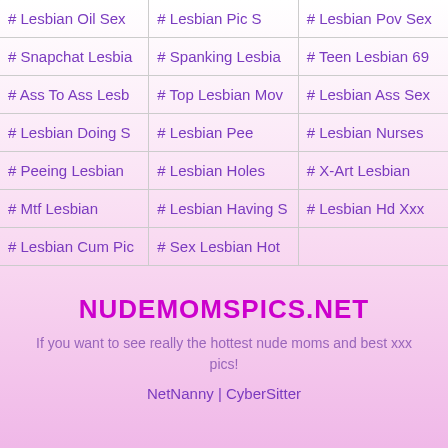# Lesbian Oil Sex
# Lesbian Pic S
# Lesbian Pov Sex
# Snapchat Lesbia
# Spanking Lesbia
# Teen Lesbian 69
# Ass To Ass Lesb
# Top Lesbian Mov
# Lesbian Ass Sex
# Lesbian Doing S
# Lesbian Pee
# Lesbian Nurses
# Peeing Lesbian
# Lesbian Holes
# X-Art Lesbian
# Mtf Lesbian
# Lesbian Having S
# Lesbian Hd Xxx
# Lesbian Cum Pic
# Sex Lesbian Hot
NUDEMOMSPICS.NET
If you want to see really the hottest nude moms and best xxx pics!
NetNanny | CyberSitter